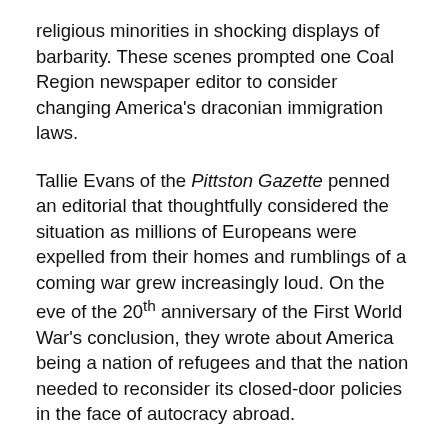religious minorities in shocking displays of barbarity. These scenes prompted one Coal Region newspaper editor to consider changing America's draconian immigration laws.
Tallie Evans of the Pittston Gazette penned an editorial that thoughtfully considered the situation as millions of Europeans were expelled from their homes and rumblings of a coming war grew increasingly loud. On the eve of the 20th anniversary of the First World War's conclusion, they wrote about America being a nation of refugees and that the nation needed to reconsider its closed-door policies in the face of autocracy abroad.
The editorial was written in the immediate aftermath of "Kristallnacht," a savage attack on Germany's Jewish citizens launched in November 1938. The attacks led by Hitler's "Sturmabteilung" (SA), with